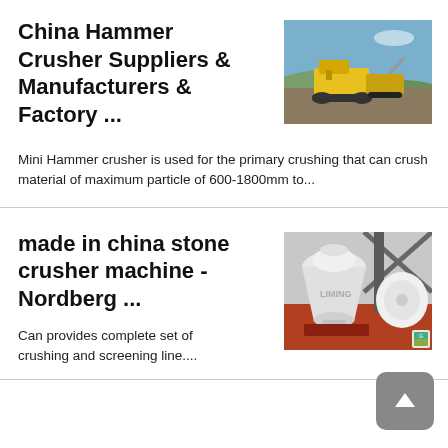China Hammer Crusher Suppliers & Manufacturers & Factory ...
[Figure (photo): Yellow mobile hammer crusher machine operating outdoors on a rocky hillside terrain]
Mini Hammer crusher is used for the primary crushing that can crush material of maximum particle of 600-1800mm to...
made in china stone crusher machine - Nordberg ...
[Figure (photo): Industrial stone crusher machine in a factory setting, white and grey cone crusher with structural steel frame, LIMING branding visible]
Can provides complete set of crushing and screening line....